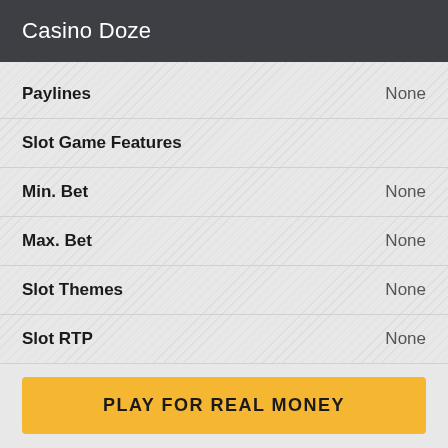Casino Doze
| Feature | Value |
| --- | --- |
| Paylines | None |
| Slot Game Features |  |
| Min. Bet | None |
| Max. Bet | None |
| Slot Themes | None |
| Slot RTP | None |
PLAY FOR REAL MONEY